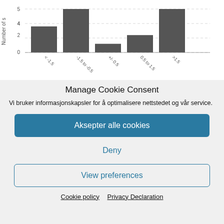[Figure (histogram): ]
Manage Cookie Consent
Vi bruker informasjonskapsler for å optimalisere nettstedet og vår service.
Aksepter alle cookies
Deny
View preferences
Cookie policy  Privacy Declaration